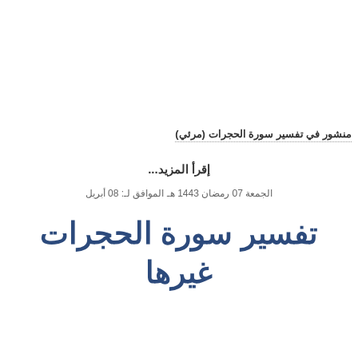منشور في تفسير سورة الحجرات (مرئي)
إقرأ المزيد...
الجمعة 07 رمضان 1443 هـ الموافق لـ: 08 أبريل
تفسير سورة الحجرات
غيرها